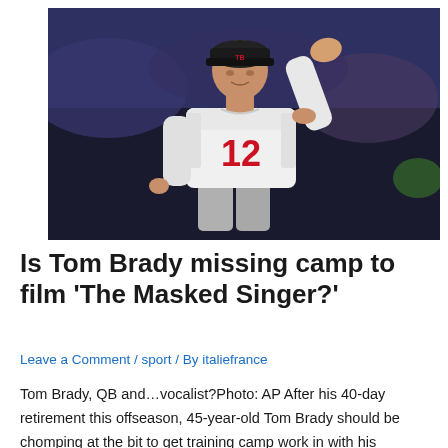[Figure (photo): Tom Brady in a Tampa Bay Buccaneers white #12 jersey, waving his right hand upward, in a stadium setting]
Is Tom Brady missing camp to film ‘The Masked Singer?’
Leave a Comment / sport / By italiefrance
Tom Brady, QB and…vocalist?Photo: AP After his 40-day retirement this offseason, 45-year-old Tom Brady should be chomping at the bit to get training camp work in with his offensive line and receiving corps, right? Wrong. He’s been noticeably